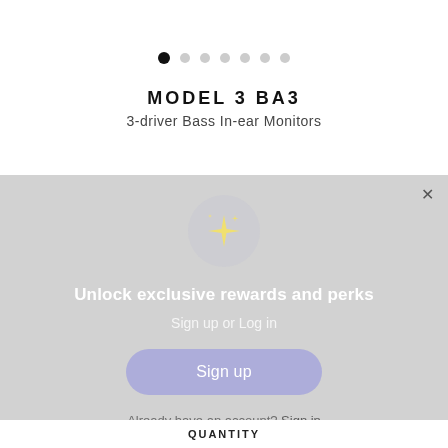[Figure (other): Pagination dots row with 7 dots, first dot filled black (active), rest light gray]
MODEL 3 BA3
3-driver Bass In-ear Monitors
[Figure (illustration): Modal overlay on gray background with sparkle/star emoji icon in a circle, headline 'Unlock exclusive rewards and perks', subtext 'Sign up or Log in', a 'Sign up' button, and 'Already have an account? Sign in' link. A close X button is in the top right.]
Unlock exclusive rewards and perks
Sign up or Log in
Sign up
Already have an account? Sign in
QUANTITY